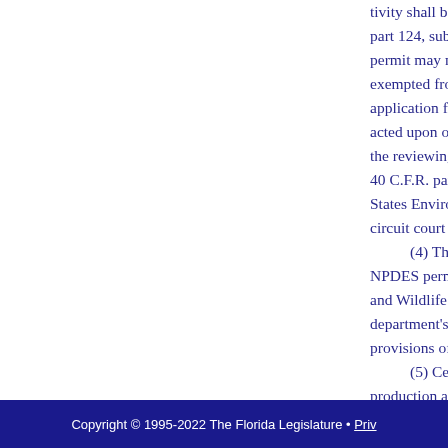tivity shall be granted or limited by the department in accordance with 40 C.F.R. part 124, subpart A. Other than for stormwater discharges, the authority to issue a permit may not be delegated to another agency or governmental body. A permit may be exempted from the time limitations provided in ss. 120.60 and 120.605 upon timely application for renewal, a permit issued under this section shall not expire until finally acted upon or until the last day for seeking judicial review of the agency's decision by the reviewing court. However, if the department fails to process the application under 40 C.F.R. part 124, subpart A, or a memorandum of agreement with the United States Environmental Protection Agency, whichever is applicable, any person may apply to circuit court requiring the department to render a decision.
(4)    The department shall respond, in writing, to any comments on a proposed NPDES permit which the department receives from the Fish and Wildlife Service and Wildlife Conservation Commission on matters within their jurisdiction. The department's response shall not constitute agency action subject to review under the provisions of chapter 120.
(5)    Certified aquaculture activities under s. 597.004 whose animal production and water discharge are less than the parameters for such activities are exempt from wastewater management regulations. For purposes of this subsection, parameters are determined by rule of the Department of Agriculture and Consumer Services.
History.—s. 23, ch. 88-393; s. 16, ch. 92-132; s. 76, ch. 93-213; s. 1, ch. 97-96; s. 18, ch. 98-203; s. 22, ch. 98-333; s. 204, ch. 99-245.
Copyright © 1995-2022 The Florida Legislature • Priv